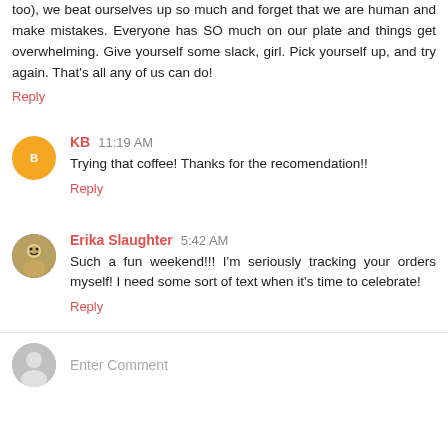too), we beat ourselves up so much and forget that we are human and make mistakes. Everyone has SO much on our plate and things get overwhelming. Give yourself some slack, girl. Pick yourself up, and try again. That's all any of us can do!
Reply
KB  11:19 AM
Trying that coffee! Thanks for the recomendation!!
Reply
Erika Slaughter  5:42 AM
Such a fun weekend!!! I'm seriously tracking your orders myself! I need some sort of text when it's time to celebrate!
Reply
Enter Comment